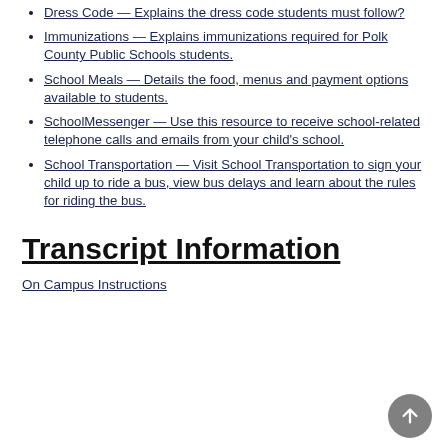Dress Code — Explains the dress code students must follow?
Immunizations — Explains immunizations required for Polk County Public Schools students.
School Meals — Details the food, menus and payment options available to students.
SchoolMessenger — Use this resource to receive school-related telephone calls and emails from your child's school.
School Transportation — Visit School Transportation to sign your child up to ride a bus, view bus delays and learn about the rules for riding the bus.
Transcript Information
On Campus Instructions